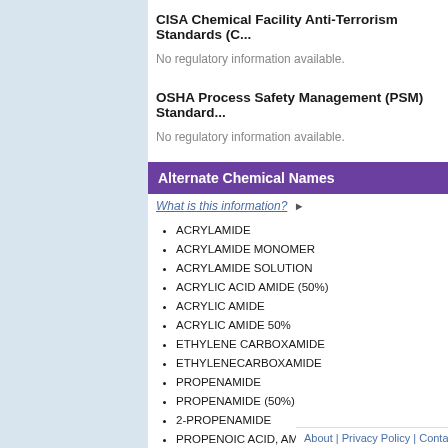CISA Chemical Facility Anti-Terrorism Standards (C...
No regulatory information available.
OSHA Process Safety Management (PSM) Standard...
No regulatory information available.
Alternate Chemical Names
What is this information? ▶
ACRYLAMIDE
ACRYLAMIDE MONOMER
ACRYLAMIDE SOLUTION
ACRYLIC ACID AMIDE (50%)
ACRYLIC AMIDE
ACRYLIC AMIDE 50%
ETHYLENE CARBOXAMIDE
ETHYLENECARBOXAMIDE
PROPENAMIDE
PROPENAMIDE (50%)
2-PROPENAMIDE
PROPENOIC ACID, AMIDE
VINYL AMIDE
About | Privacy Policy | Contact Us | Website Satisfa...